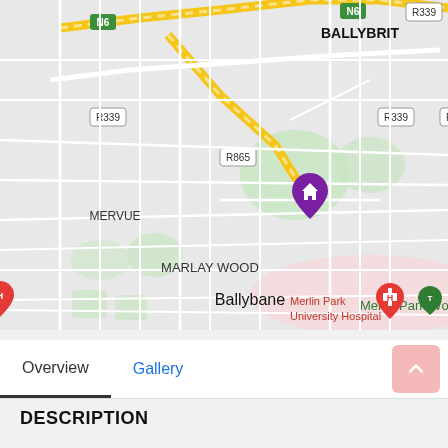[Figure (map): Street map showing Ballybrit area in Galway, Ireland. Features include roads N6, R339, R865, neighborhoods MERVUE, MARLAY WOOD, Ballybane, BALLYBRIT, and points of interest including Merlin Park Woods (green map pin) and Merlin Park University Hospital (red map pin with H). A purple house icon marks a property location near the center of the map. Yellow roads indicate major routes (N6). Green areas indicate parks/woods.]
Overview | Gallery
DESCRIPTION